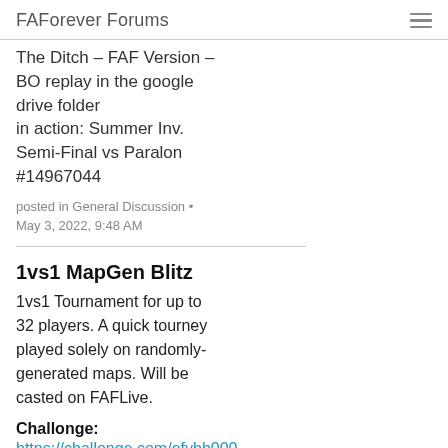FAForever Forums
The Ditch – FAF Version – BO replay in the google drive folder in action: Summer Inv. Semi-Final vs Paralon #14967044
posted in General Discussion • May 3, 2022, 9:48 AM
1vs1 MapGen Blitz
1vs1 Tournament for up to 32 players. A quick tourney played solely on randomly-generated maps. Will be casted on FAFLive.
Challonge: https://challonge.com/efybh000
Date: 16.04.2022 15 GMT